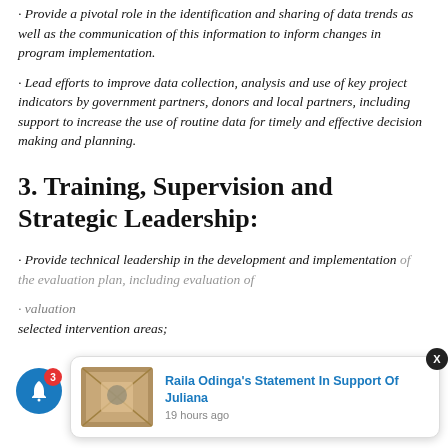· Provide a pivotal role in the identification and sharing of data trends as well as the communication of this information to inform changes in program implementation.
· Lead efforts to improve data collection, analysis and use of key project indicators by government partners, donors and local partners, including support to increase the use of routine data for timely and effective decision making and planning.
3. Training, Supervision and Strategic Leadership:
· Provide technical leadership in the development and implementation of the evaluation plan, including evaluation of selected intervention areas;
[Figure (screenshot): News popup notification showing 'Raila Odinga's Statement In Support Of Juliana' with thumbnail image and timestamp '19 hours ago', with a blue notification bell button showing badge count of 3]